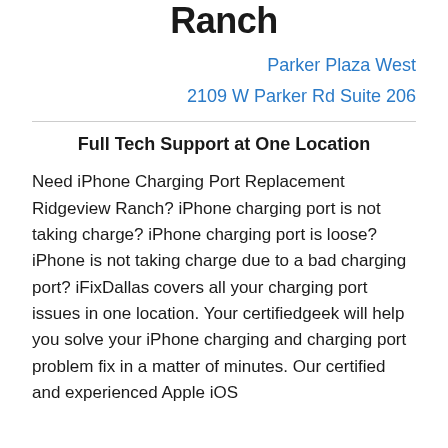Ranch
Parker Plaza West
2109 W Parker Rd Suite 206
Full Tech Support at One Location
Need iPhone Charging Port Replacement Ridgeview Ranch? iPhone charging port is not taking charge? iPhone charging port is loose? iPhone is not taking charge due to a bad charging port? iFixDallas covers all your charging port issues in one location. Your certifiedgeek will help you solve your iPhone charging and charging port problem fix in a matter of minutes. Our certified and experienced Apple iOS